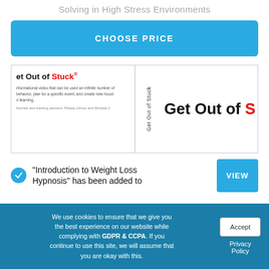Solving in High Stress Environments
CHOOSE PRICE
[Figure (screenshot): Product image showing 'Get Out of Stuck' book/video with title text and description, displayed in a bordered box with three sections: left panel with book title and small body text, center vertical text reading 'Get Out of Stuck', right panel with large bold title text 'Get Out of S...']
"Introduction to Weight Loss Hypnosis" has been added to
VIEW
We use cookies to ensure that we give you the best experience on our website while complying with GDPR & CCPA. If you continue to use this site, we will assume that you are okay with this.
Accept
Privacy Policy